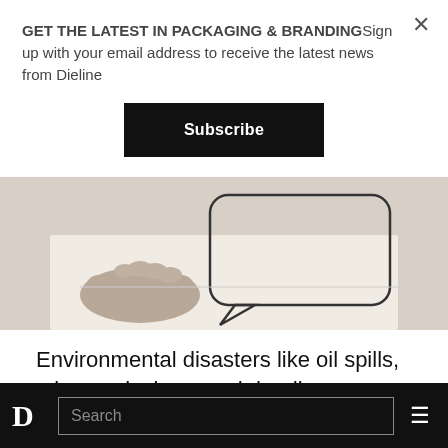GET THE LATEST IN PACKAGING & BRANDINGSign up with your email address to receive the latest news from Dieline
Subscribe
[Figure (photo): Hands drawing or sketching a speech bubble on paper, shown in black and white / sepia tone]
Environmental disasters like oil spills, mine explosions, and deadly smog galvanized many into taking action to curtail destructive
D  Search  ≡